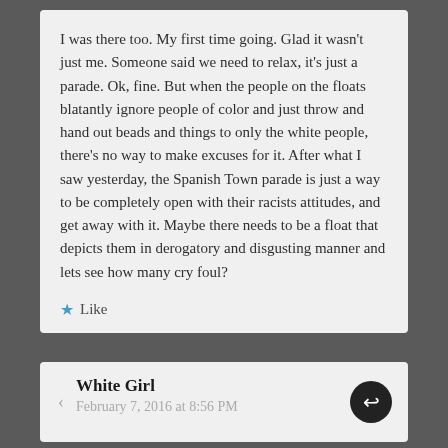I was there too. My first time going. Glad it wasn't just me. Someone said we need to relax, it's just a parade. Ok, fine. But when the people on the floats blatantly ignore people of color and just throw and hand out beads and things to only the white people, there's no way to make excuses for it. After what I saw yesterday, the Spanish Town parade is just a way to be completely open with their racists attitudes, and get away with it. Maybe there needs to be a float that depicts them in derogatory and disgusting manner and lets see how many cry foul?
Like
White Girl
February 7, 2016 at 8:56 PM